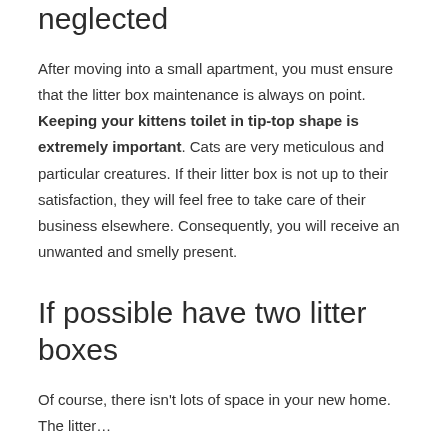neglected
After moving into a small apartment, you must ensure that the litter box maintenance is always on point. Keeping your kittens toilet in tip-top shape is extremely important. Cats are very meticulous and particular creatures. If their litter box is not up to their satisfaction, they will feel free to take care of their business elsewhere. Consequently, you will receive an unwanted and smelly present.
If possible have two litter boxes
Of course, there isn't lots of space in your new home. The litter…